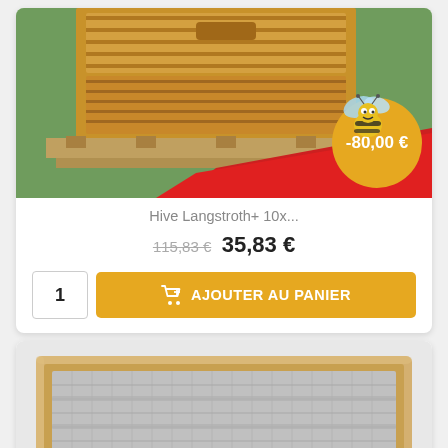[Figure (photo): Product card showing beehive Langstroth with bee badge overlay and discount badge showing -80,00 €, with product title, old price 115,83 €, new price 35,83 €, quantity selector showing 1, and orange Add to Cart button.]
Hive Langstroth+ 10x...
115,83 € 35,83 €
[Figure (photo): Product image of a wooden-framed mesh/grid screen, likely a varroa floor or mesh board for a beehive.]